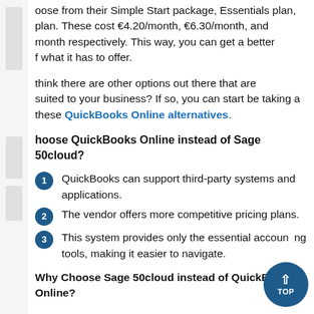oose from their Simple Start package, Essentials plan, plan. These cost €4.20/month, €6.30/month, and month respectively. This way, you can get a better f what it has to offer.
think there are other options out there that are suited to your business? If so, you can start be taking a these QuickBooks Online alternatives.
hoose QuickBooks Online instead of Sage 50cloud?
QuickBooks can support third-party systems and applications.
The vendor offers more competitive pricing plans.
This system provides only the essential accounting tools, making it easier to navigate.
Why Choose Sage 50cloud instead of QuickBooks Online?